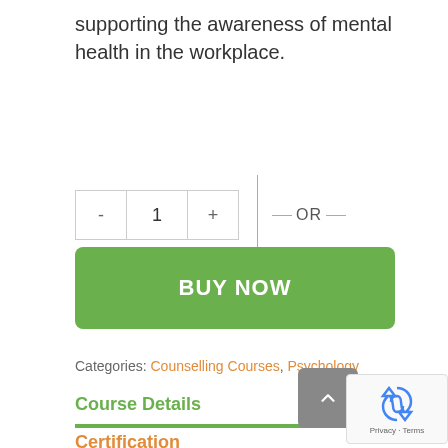supporting the awareness of mental health in the workplace.
[Figure (other): Quantity selector with minus, 1, plus buttons and OR separator text]
[Figure (other): BUY NOW green button]
Categories: Counselling Courses, Psychology
Course Details
Certification